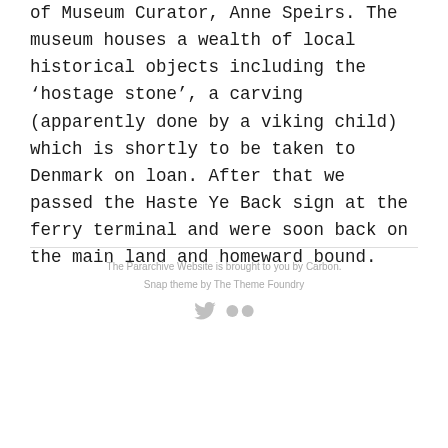of Museum Curator, Anne Speirs. The museum houses a wealth of local historical objects including the 'hostage stone', a carving (apparently done by a viking child) which is shortly to be taken to Denmark on loan. After that we passed the Haste Ye Back sign at the ferry terminal and were soon back on the main land and homeward bound.
The Pararchive Website is brought to you by Carbon.
Snap theme by The Theme Foundry